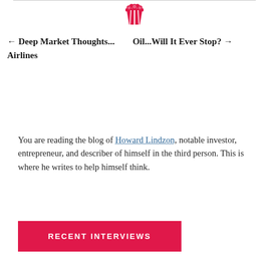[Figure (logo): Red popcorn bucket logo icon at top center of page]
← Deep Market Thoughts...    Oil...Will It Ever Stop? →
Airlines
You are reading the blog of Howard Lindzon, notable investor, entrepreneur, and describer of himself in the third person. This is where he writes to help himself think.
RECENT INTERVIEWS